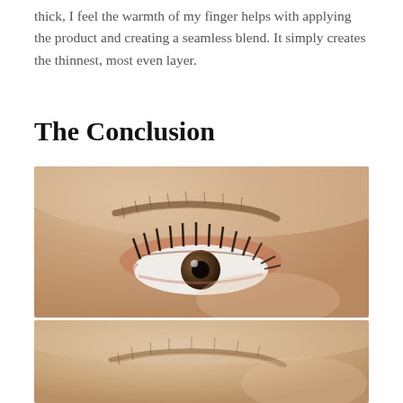thick, I feel the warmth of my finger helps with applying the product and creating a seamless blend. It simply creates the thinnest, most even layer.
The Conclusion
[Figure (photo): Close-up photo of a person's eye with mascara and reddish-orange eyeshadow, with eyebrow visible above]
[Figure (photo): Close-up photo of a person's eye area showing eyebrow, without makeup or with minimal makeup]